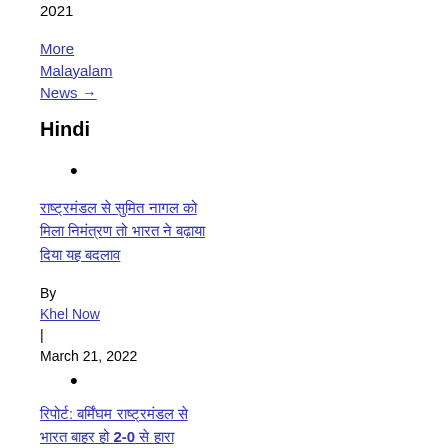2021
More Malayalam News →
Hindi
•
राष्ट्रमंडल से सुमित नागल को मिला निमंत्रण तो भारत ने बढ़ाया दिया यह बदलाव
By Khel Now | March 21, 2022
•
रिपोर्ट: बर्मिंघम राष्ट्रमंडल से भारत बाहर हो 2-0 से हारा